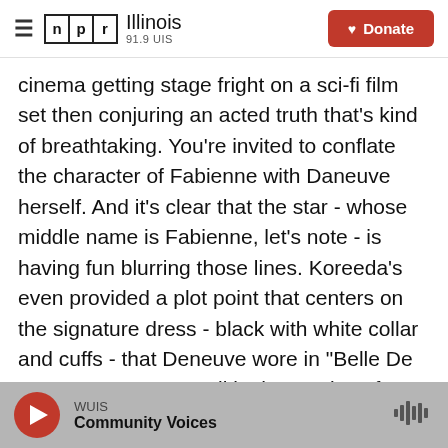NPR Illinois 91.9 UIS | Donate
cinema getting stage fright on a sci-fi film set then conjuring an acted truth that's kind of breathtaking. You're invited to conflate the character of Fabienne with Daneuve herself. And it's clear that the star - whose middle name is Fabienne, let's note - is having fun blurring those lines. Koreeda's even provided a plot point that centers on the signature dress - black with white collar and cuffs - that Deneuve wore in "Belle De Jour" 53 years ago. All in the service of a story in the truth about family and filmmaking, mothers and daughters, memory and the comforting fictions we think we remember.
WUIS Community Voices